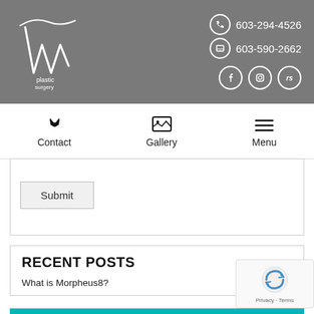[Figure (logo): AW Plastic Surgery logo - white stylized W with 'plastic surgery' text on grey background with phone numbers 603-294-4526 and 603-590-2662 and social media icons]
Contact | Gallery | Menu
[Figure (screenshot): Submit button in a form area]
RECENT POSTS
What is Morpheus8?